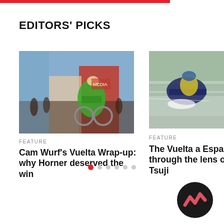EDITORS' PICKS
[Figure (photo): Cyclist in green jersey racing at a cycling event, crowd and red building in background]
FEATURE
Cam Wurf's Vuelta Wrap-up: why Horner deserved the win
[Figure (photo): Blurred action shot of cyclists racing, child spectator in background]
FEATURE
The Vuelta a España through the lens of Kei Tsuji
[Figure (logo): Cycling news logo — circular dark badge with angular M/W zigzag chevron mark in coral/red]